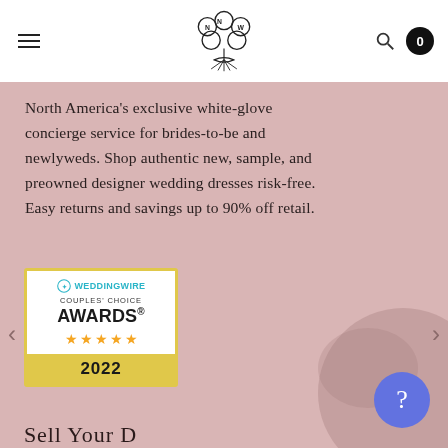NNW logo with hamburger menu, search icon, and cart badge showing 0
North America's exclusive white-glove concierge service for brides-to-be and newlyweds. Shop authentic new, sample, and preowned designer wedding dresses risk-free. Easy returns and savings up to 90% off retail.
[Figure (logo): WeddingWire Couples' Choice Awards 2022 badge with five gold stars]
Sell Your D...